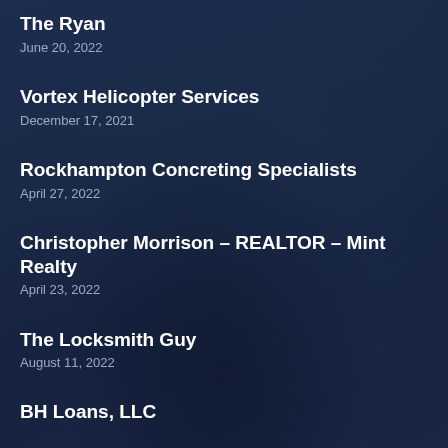The Ryan
June 20, 2022
Vortex Helicopter Services
December 17, 2021
Rockhampton Concreting Specialists
April 27, 2022
Christopher Morrison – REALTOR – Mint Realty
April 23, 2022
The Locksmith Guy
August 11, 2022
BH Loans, LLC